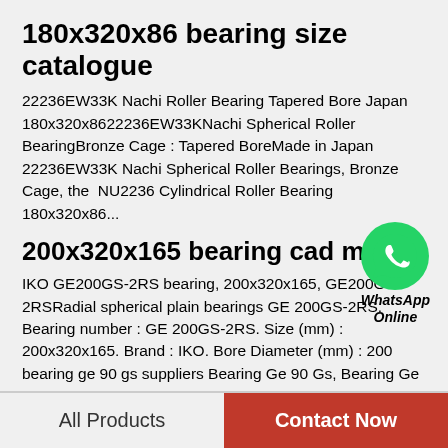180x320x86 bearing size catalogue
22236EW33K Nachi Roller Bearing Tapered Bore Japan 180x320x8622236EW33KNachi Spherical Roller BearingBronze Cage : Tapered BoreMade in Japan 22236EW33K Nachi Spherical Roller Bearings, Bronze Cage, the  NU2236 Cylindrical Roller Bearing 180x320x86...
[Figure (logo): WhatsApp green phone icon with WhatsApp Online label]
200x320x165 bearing cad model
IKO GE200GS-2RS bearing, 200x320x165, GE200GS-2RSRadial spherical plain bearings GE 200GS-2RS. Bearing number : GE 200GS-2RS. Size (mm) : 200x320x165. Brand : IKO. Bore Diameter (mm) : 200 bearing ge 90 gs suppliers Bearing Ge 90 Gs, Bearing Ge 90...
All Products   Contact Now